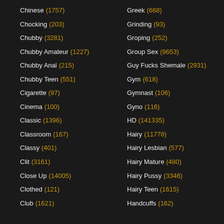Chinese (1757)
Chocking (203)
Chubby (3281)
Chubby Amateur (1227)
Chubby Anal (215)
Chubby Teen (551)
Cigarette (97)
Cinema (100)
Classic (1396)
Classroom (167)
Classy (401)
Clit (3161)
Close Up (14005)
Clothed (121)
Club (1621)
Greek (668)
Grinding (93)
Groping (252)
Group Sex (9653)
Guy Fucks Shemale (2931)
Gym (618)
Gymnast (106)
Gyno (116)
HD (141335)
Hairy (11778)
Hairy Lesbian (577)
Hairy Mature (480)
Hairy Pussy (3346)
Hairy Teen (1615)
Handcuffs (162)